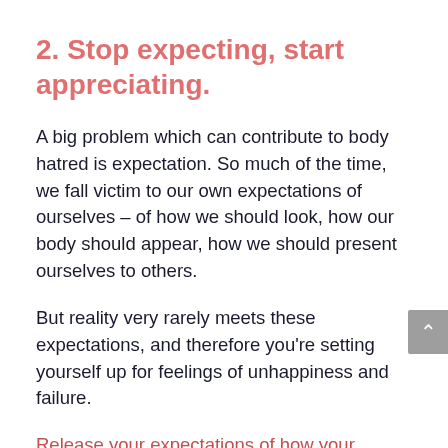2. Stop expecting, start appreciating.
A big problem which can contribute to body hatred is expectation. So much of the time, we fall victim to our own expectations of ourselves – of how we should look, how our body should appear, how we should present ourselves to others.
But reality very rarely meets these expectations, and therefore you're setting yourself up for feelings of unhappiness and failure.
Release your expectations of how your